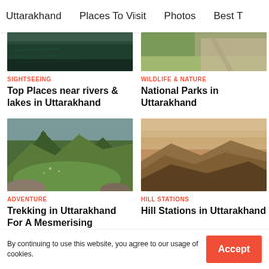Uttarakhand   Places To Visit   Photos   Best T
[Figure (photo): Top image of river/lake water, dark greenish tone]
[Figure (photo): Top image of dirt path through green grass]
SIGHTSEEING
WILDLIFE & NATURE
Top Places near rivers & lakes in Uttarakhand
National Parks in Uttarakhand
[Figure (photo): Mountain valley with green terraced fields and village]
[Figure (photo): Hazy mountain landscape with warm orange/brown tones at dusk]
ADVENTURE
HILL STATIONS
Trekking in Uttarakhand For A Mesmerising
Hill Stations in Uttarakhand
By continuing to use this website, you agree to our usage of cookies.